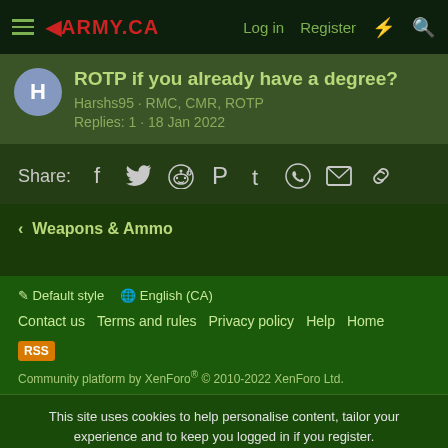4ARMY.CA  Log in  Register
ROTP if you already have a degree?
Harshs95 · RMC, CMR, ROTP
Replies: 1 · 18 Jan 2022
Share:
< Weapons & Ammo
Default style   English (CA)
Contact us  Terms and rules  Privacy policy  Help  Home
Community platform by XenForo® © 2010-2022 XenForo Ltd.
This site uses cookies to help personalise content, tailor your experience and to keep you logged in if you register. By continuing to use this site, you are consenting to our use of cookies.